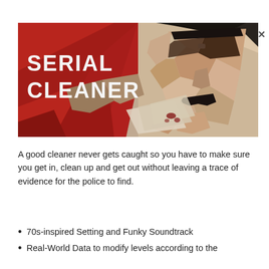[Figure (illustration): Game banner for Serial Cleaner showing a stylized low-poly portrait of a man with sunglasses and a mustache against a red background, with the text SERIAL CLEANER in bold white letters on the left side.]
A good cleaner never gets caught so you have to make sure you get in, clean up and get out without leaving a trace of evidence for the police to find.
70s-inspired Setting and Funky Soundtrack
Real-World Data to modify levels according to the